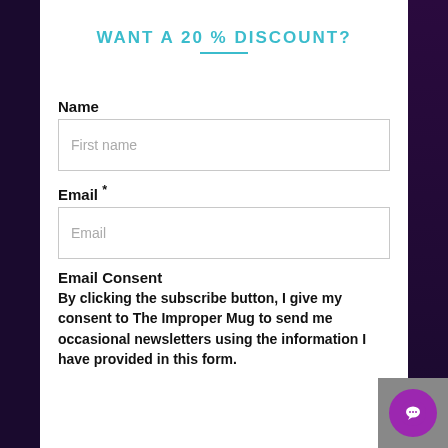WANT A 20 % DISCOUNT?
Name
First name
Email *
Email
Email Consent
By clicking the subscribe button, I give my consent to The Improper Mug to send me occasional newsletters using the information I have provided in this form.